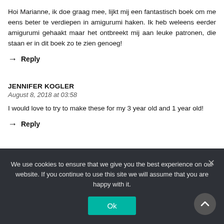Hoi Marianne, ik doe graag mee, lijkt mij een fantastisch boek om me eens beter te verdiepen in amigurumi haken. Ik heb weleens eerder amigurumi gehaakt maar het ontbreekt mij aan leuke patronen, die staan er in dit boek zo te zien genoeg!
→ Reply
JENNIFER KOGLER
August 8, 2018 at 03:58
I would love to try to make these for my 3 year old and 1 year old!
→ Reply
We use cookies to ensure that we give you the best experience on our website. If you continue to use this site we will assume that you are happy with it.